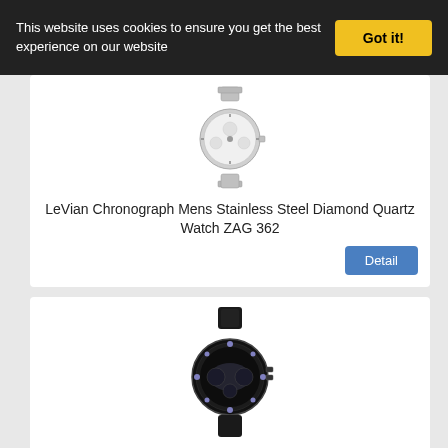This website uses cookies to ensure you get the best experience on our website
Got it!
[Figure (photo): LeVian Chronograph Mens Stainless Steel Diamond Quartz Watch ZAG 362 product photo on white background]
LeVian Chronograph Mens Stainless Steel Diamond Quartz Watch ZAG 362
Detail
[Figure (photo): LeVian Ladies Diamond Day/Date Swiss Quartz Chronograph Watch LV509 BL-DD-3 product photo - black watch with leather strap]
LeVian Ladies Diamond Day/Date Swiss Quartz Chronograph Watch LV509 BL-DD-3
Detail
[Figure (photo): Partial view of a third watch product at bottom of page]